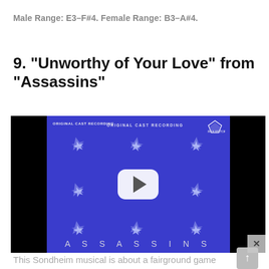Male Range: E3–F#4. Female Range: B3–A#4.
9. “Unworthy of Your Love” from “Assassins”
[Figure (screenshot): YouTube video thumbnail for Assassins Original Cast Recording album cover, showing a blue background with star/shuriken motifs and the word ASSASSINS at the bottom, with a YouTube play button overlay.]
This Sondheim musical is about a fairground game